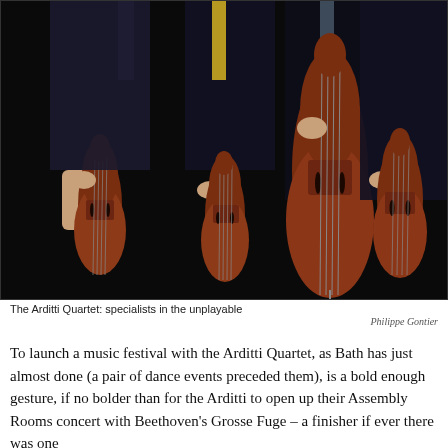[Figure (photo): Four musicians holding string instruments (two violins, one viola, one cello) against a black background. Only their torsos, hands, and instruments are visible. The instruments are held upright. The musicians are wearing dark formal attire.]
The Arditti Quartet: specialists in the unplayable
Philippe Gontier
To launch a music festival with the Arditti Quartet, as Bath has just almost done (a pair of dance events preceded them), is a bold enough gesture, if no bolder than for the Arditti to open up their Assembly Rooms concert with Beethoven's Grosse Fuge – a finisher if ever there was one